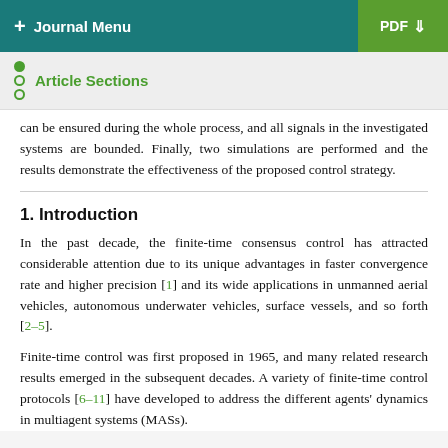+ Journal Menu   PDF ↓
Article Sections
can be ensured during the whole process, and all signals in the investigated systems are bounded. Finally, two simulations are performed and the results demonstrate the effectiveness of the proposed control strategy.
1. Introduction
In the past decade, the finite-time consensus control has attracted considerable attention due to its unique advantages in faster convergence rate and higher precision [1] and its wide applications in unmanned aerial vehicles, autonomous underwater vehicles, surface vessels, and so forth [2–5].
Finite-time control was first proposed in 1965, and many related research results emerged in the subsequent decades. A variety of finite-time control protocols [6–11] have developed to address the different agents' dynamics in multiagent systems (MASs).